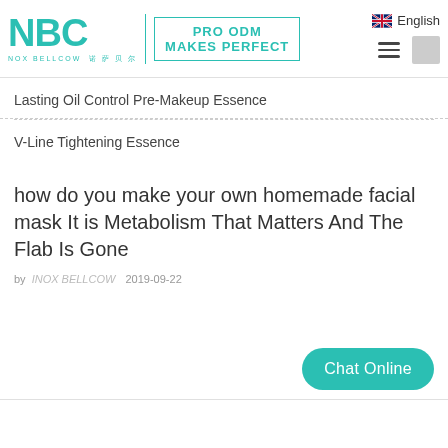[Figure (logo): NBC (Nox Bellcow) logo with teal letters and PRO ODM MAKES PERFECT tagline in a bordered box, plus Chinese characters below]
English
Lasting Oil Control Pre-Makeup Essence
V-Line Tightening Essence
how do you make your own homemade facial mask It is Metabolism That Matters And The Flab Is Gone
by INOX BELLCOW   2019-09-22
Chat Online